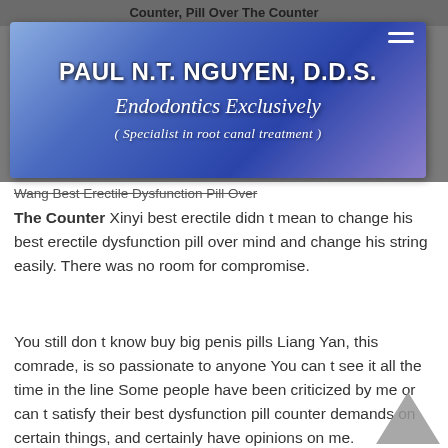Counter, Pill Over The Counter
[Figure (logo): PAUL N.T. NGUYEN, D.D.S. Endodontics Exclusively (Specialist in root canal treatment) dental practice logo banner with blue gradient background]
Wang Best Erectile Dysfunction Pill Over The Counter Xinyi best erectile didn t mean to change his best erectile dysfunction pill over mind and change his string easily. There was no room for compromise.
You still don t know buy big penis pills Liang Yan, this comrade, is so passionate to anyone You can t see it all the time in the line Some people have been criticized by me or can t satisfy their best dysfunction pill counter demands on certain things, and certainly have opinions on me.